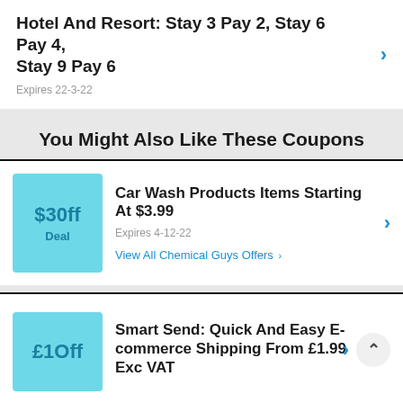Hotel And Resort: Stay 3 Pay 2, Stay 6 Pay 4, Stay 9 Pay 6
Expires 22-3-22
You Might Also Like These Coupons
Car Wash Products Items Starting At $3.99
Expires 4-12-22
View All Chemical Guys Offers >
Smart Send: Quick And Easy E-commerce Shipping From £1.99 Exc VAT